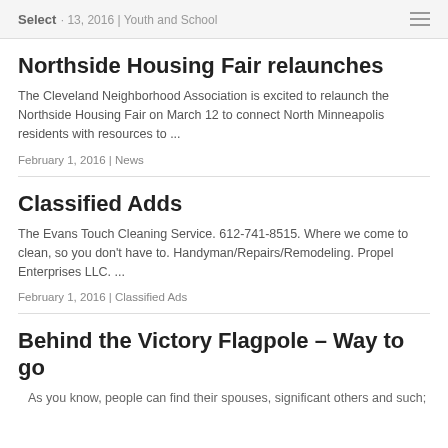Select · 13, 2016 | Youth and School
Northside Housing Fair relaunches
The Cleveland Neighborhood Association is excited to relaunch the Northside Housing Fair on March 12 to connect North Minneapolis residents with resources to ...
February 1, 2016 | News
Classified Adds
The Evans Touch Cleaning Service. 612-741-8515. Where we come to clean, so you don't have to. Handyman/Repairs/Remodeling. Propel Enterprises LLC. ...
February 1, 2016 | Classified Ads
Behind the Victory Flagpole – Way to go
As you know, people can find their spouses, significant others and such;